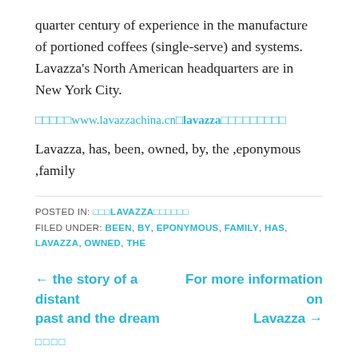quarter century of experience in the manufacture of portioned coffees (single-serve) and systems. Lavazza’s North American headquarters are in New York City.
□□□□□www.lavazzachina.cn□lavazza□□□□□□□□□
Lavazza, has, been, owned, by, the ,eponymous ,family
POSTED IN: □□□LAVAZZA□□□□□□
FILED UNDER: BEEN, BY, EPONYMOUS, FAMILY, HAS, LAVAZZA, OWNED, THE
← the story of a distant past and the dream
For more information on Lavazza →